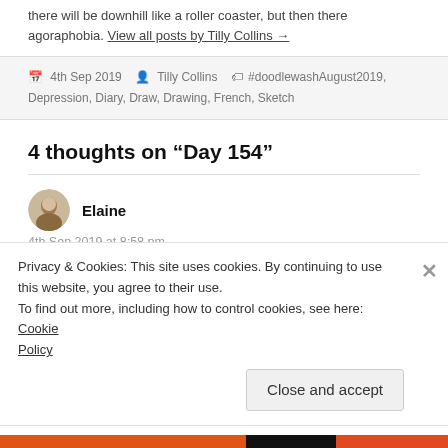there will be downhill like a roller coaster, but then there agoraphobia. View all posts by Tilly Collins →
4th Sep 2019  Tilly Collins  #doodlewashAugust2019, Depression, Diary, Draw, Drawing, French, Sketch
4 thoughts on "Day 154"
Elaine
4th Sep 2019 at 8:58 pm
Privacy & Cookies: This site uses cookies. By continuing to use this website, you agree to their use.
To find out more, including how to control cookies, see here: Cookie Policy
Close and accept